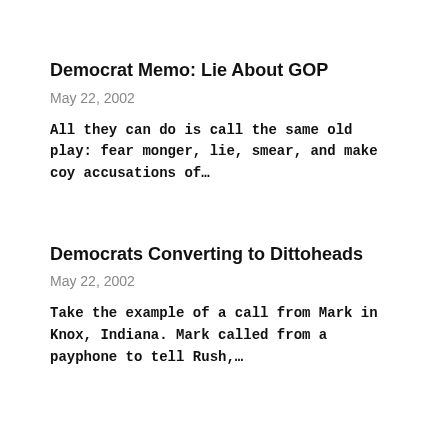Democrat Memo: Lie About GOP
May 22, 2002
All they can do is call the same old play: fear monger, lie, smear, and make coy accusations of…
Democrats Converting to Dittoheads
May 22, 2002
Take the example of a call from Mark in Knox, Indiana. Mark called from a payphone to tell Rush,…